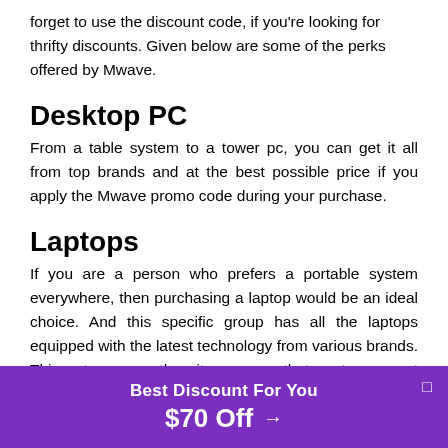forget to use the discount code, if you're looking for thrifty discounts. Given below are some of the perks offered by Mwave.
Desktop PC
From a table system to a tower pc, you can get it all from top brands and at the best possible price if you apply the Mwave promo code during your purchase.
Laptops
If you are a person who prefers a portable system everywhere, then purchasing a laptop would be an ideal choice. And this specific group has all the laptops equipped with the latest technology from various brands. This category on the site ensures that customers get premium quality products at a just c
Best Discount For You $70 Off →